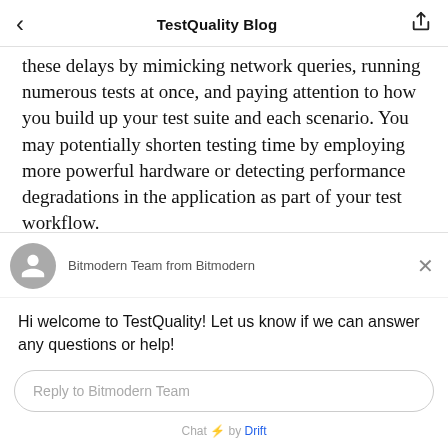TestQuality Blog
these delays by mimicking network queries, running numerous tests at once, and paying attention to how you build up your test suite and each scenario. You may potentially shorten testing time by employing more powerful hardware or detecting performance degradations in the application as part of your test workflow.
ish test suite may be costly in the long term
Bitmodern Team from Bitmodern
Hi welcome to TestQuality! Let us know if we can answer any questions or help!
Reply to Bitmodern Team
Chat ⚡ by Drift